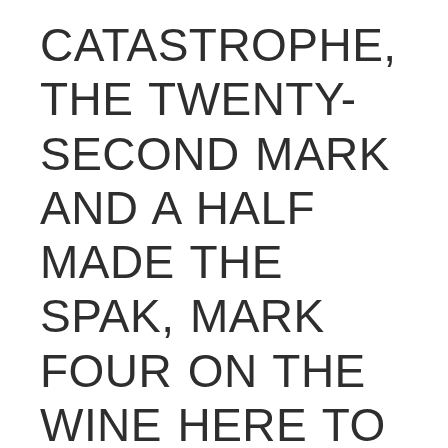CATASTROPHE, THE TWENTY-SECOND MARK AND A HALF MADE THE SPAK, MARK FOUR ON THE WINE HERE TO SEE THAT FINALLY MAKE WORDS ON THE CRESCENT CITY, ENDOR OF THE MAJOR